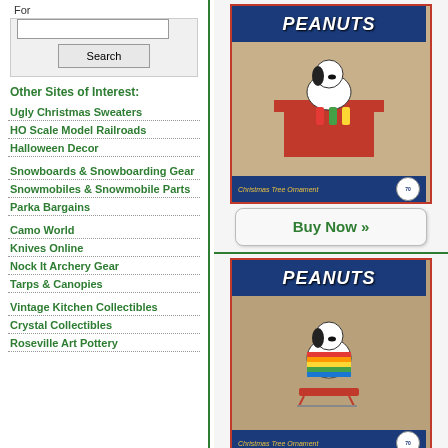For
Search
Other Sites of Interest:
Ugly Christmas Sweaters
HO Scale Model Railroads
Halloween Decor
Snowboards & Snowboarding Gear
Snowmobiles & Snowmobile Parts
Parka Bargains
Camo World
Knives Online
Nock It Archery Gear
Tarps & Canopies
Vintage Kitchen Collectibles
Crystal Collectibles
Roseville Art Pottery
[Figure (photo): Peanuts Snoopy Christmas Tree Ornament in blue box, top product]
Buy Now »
[Figure (photo): Peanuts Snoopy Christmas Tree Ornament in blue box, second product]
Buy Now »